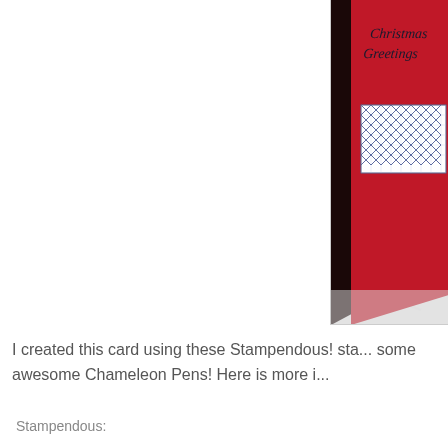[Figure (photo): Close-up photo of a red Christmas card with 'Christmas Greetings' handwritten text in black and a blue and white geometric patterned rectangle, propped against a dark background on a white marble surface.]
I created this card using these Stampendous! sta... some awesome Chameleon Pens! Here is more i...
Stampendous: